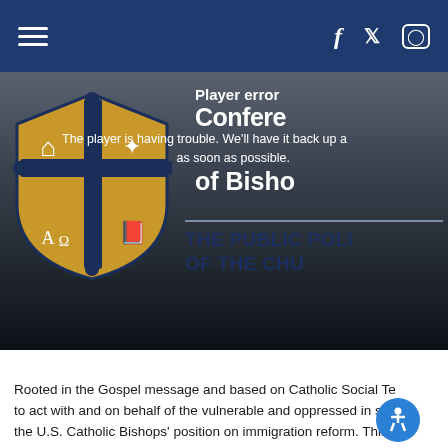Navigation bar with hamburger menu, Facebook, Twitter, Instagram icons
[Figure (screenshot): Website screenshot showing a video player error overlay on a USCCB (United States Conference of Catholic Bishops) banner. The banner shows a shield/cross logo with symbols (Alpha, Omega, house, star, book). Text reads 'Player error' and 'The player is having trouble. We'll have it back up as soon as possible.' and 'Confere[nce] of Bisho[ps]' and 'THE PUBLIC POLI[CY] OF THE CHU[RCH]']
Rooted in the Gospel message and based on Catholic Social Te[aching, we are called] to act with and on behalf of the vulnerable and oppressed in s[upport of] the U.S. Catholic Bishops' position on immigration reform. This [page aims to] provide parishioners with ways to participate in actions that fa[vor solidarity] with our immigrant sisters and brothers.